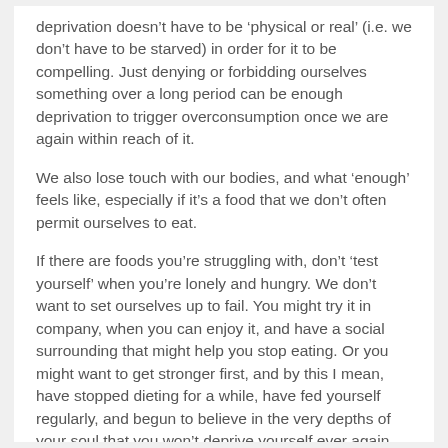deprivation doesn't have to be 'physical or real' (i.e. we don't have to be starved) in order for it to be compelling. Just denying or forbidding ourselves something over a long period can be enough deprivation to trigger overconsumption once we are again within reach of it.
We also lose touch with our bodies, and what 'enough' feels like, especially if it's a food that we don't often permit ourselves to eat.
If there are foods you're struggling with, don't 'test yourself' when you're lonely and hungry. We don't want to set ourselves up to fail. You might try it in company, when you can enjoy it, and have a social surrounding that might help you stop eating. Or you might want to get stronger first, and by this I mean, have stopped dieting for a while, have fed yourself regularly, and begun to believe in the very depths of your soul that you won't deprive yourself ever again.